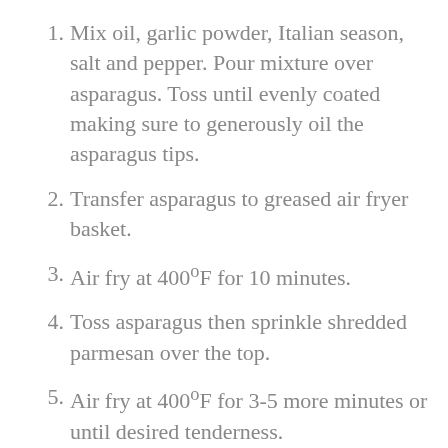Mix oil, garlic powder, Italian season, salt and pepper. Pour mixture over asparagus. Toss until evenly coated making sure to generously oil the asparagus tips.
Transfer asparagus to greased air fryer basket.
Air fry at 400°F for 10 minutes.
Toss asparagus then sprinkle shredded parmesan over the top.
Air fry at 400°F for 3-5 more minutes or until desired tenderness.